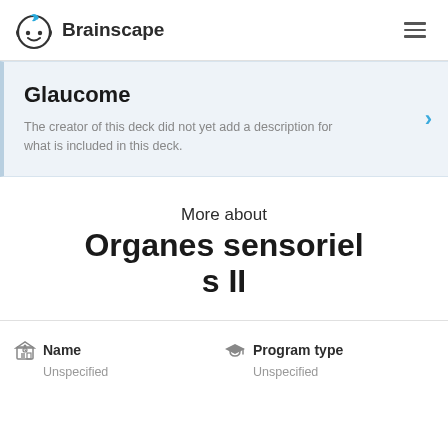Brainscape
Glaucome
The creator of this deck did not yet add a description for what is included in this deck.
More about
Organes sensoriels II
Name
Unspecified
Program type
Unspecified